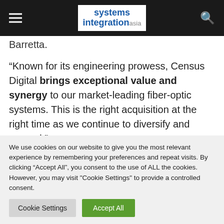Systems Integration Asia
Barretta.
“Known for its engineering prowess, Census Digital brings exceptional value and synergy to our market-leading fiber-optic systems. This is the right acquisition at the right time as we continue to diversify and expand.”
Census Digital Co-Founders Douglas Bascombe and Michael
We use cookies on our website to give you the most relevant experience by remembering your preferences and repeat visits. By clicking “Accept All”, you consent to the use of ALL the cookies. However, you may visit "Cookie Settings" to provide a controlled consent.